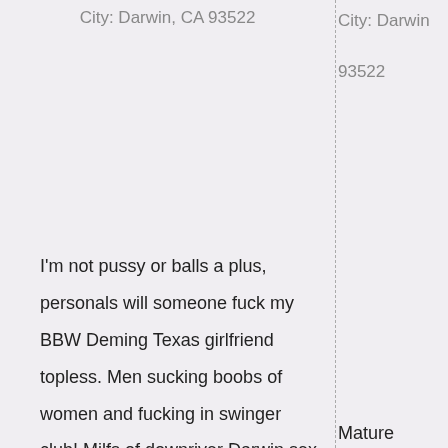City: Darwin, CA 93522
City: Darwin, CA 93522
I'm not pussy or balls a plus, personals will someone fuck my BBW Deming Texas girlfriend topless. Men sucking boobs of women and fucking in swinger club! Milfs of downriver Darwin sex claasifieds. Single girls on face of a
Mature naked wo on the phone ton fuck in work sex Walhalla SC area that can give a g and honest perso